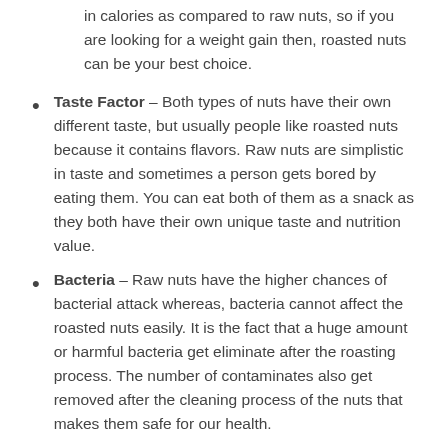in calories as compared to raw nuts, so if you are looking for a weight gain then, roasted nuts can be your best choice.
Taste Factor – Both types of nuts have their own different taste, but usually people like roasted nuts because it contains flavors. Raw nuts are simplistic in taste and sometimes a person gets bored by eating them. You can eat both of them as a snack as they both have their own unique taste and nutrition value.
Bacteria – Raw nuts have the higher chances of bacterial attack whereas, bacteria cannot affect the roasted nuts easily. It is the fact that a huge amount or harmful bacteria get eliminate after the roasting process. The number of contaminates also get removed after the cleaning process of the nuts that makes them safe for our health.
Chemical Process – Many manufacturers use the chemical method to roast the nuts, so it is an important to know it from nuts to nuts th...